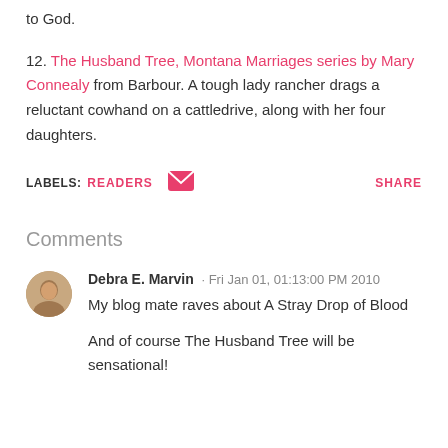to God.
12. The Husband Tree, Montana Marriages series by Mary Connealy from Barbour. A tough lady rancher drags a reluctant cowhand on a cattledrive, along with her four daughters.
LABELS: READERS  [email icon]  SHARE
Comments
Debra E. Marvin · Fri Jan 01, 01:13:00 PM 2010
My blog mate raves about A Stray Drop of Blood

And of course The Husband Tree will be sensational!